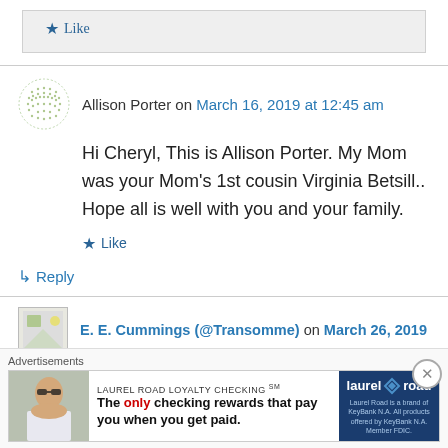Like
Allison Porter on March 16, 2019 at 12:45 am
Hi Cheryl, This is Allison Porter. My Mom was your Mom's 1st cousin Virginia Betsill.. Hope all is well with you and your family.
Like
Reply
E. E. Cummings (@Transomme) on March 26, 2019
Advertisements
[Figure (other): Laurel Road Loyalty Checking advertisement banner with woman photo, ad text 'LAUREL ROAD LOYALTY CHECKING SM - The only checking rewards that pay you when you get paid.' and Laurel Road logo]